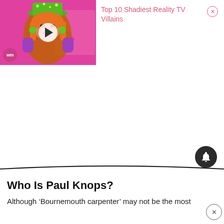[Figure (screenshot): Video thumbnail showing a drag queen in a green glittery hat, purple gloves, and pink background, with a play button overlay and WatchMojo logo]
Top 10 Shadiest Reality TV Villains
Who Is Paul Knops?
Although ‘Bournemouth carpenter’ may not be the most